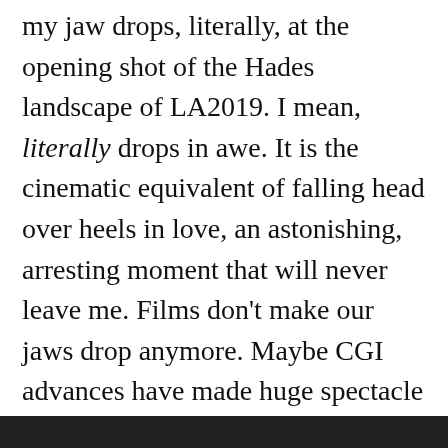my jaw drops, literally, at the opening shot of the Hades landscape of LA2019. I mean, literally drops in awe. It is the cinematic equivalent of falling head over heels in love, an astonishing, arresting moment that will never leave me. Films don't make our jaws drop anymore. Maybe CGI advances have made huge spectacle commonplace, pushed the boundaries of what's possible so far over the horizon nobody is ever truly amazed anymore. But back then, wizards like Trumbull tried and...
Privacy & Cookies: This site uses cookies. By continuing to use this website, you agree to their use.
To find out more, including how to control cookies, see here: Cookie Policy
Close and accept